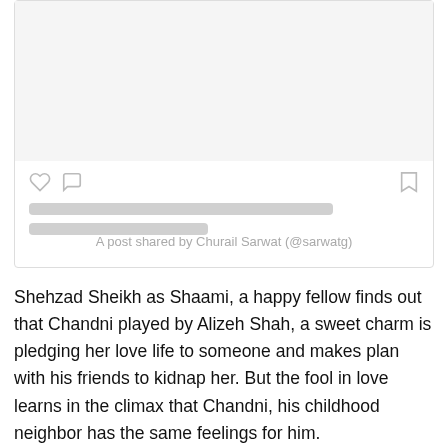[Figure (screenshot): Instagram embed card showing a post by Churail Sarwat (@sarwatg). Contains an image placeholder area, like/comment/bookmark icons, two skeleton loading lines, and the caption 'A post shared by Churail Sarwat (@sarwatg)']
Shehzad Sheikh as Shaami, a happy fellow finds out that Chandni played by Alizeh Shah, a sweet charm is pledging her love life to someone and makes plan with his friends to kidnap her. But the fool in love learns in the climax that Chandni, his childhood neighbor has the same feelings for him.
Shehzad Shaikh has given his charisma to the likes of dramas Khaali Haath, Vasl-e-Yaar, Jan-e-Rukhsat, Shareek-e-Hayaat